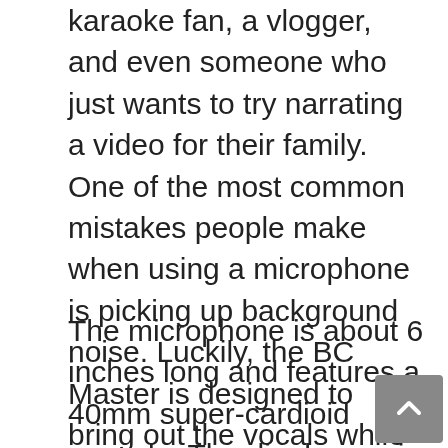karaoke fan, a vlogger, and even someone who just wants to try narrating a video for their family. One of the most common mistakes people make when using a microphone is picking up background noise. Luckily, the BC Master is designed to bring out the vocals while blocking out background noise. This is definitely one of the best cheap USB microphones available in the market.
The microphone is about 6 inches long and features a 40mm super-cardioid capsule. The diaphragm is made of Mylar and the voice coil is made of wire. The BC Master features a gold-plated clip, a smooth spherical air-tight grill to protect the diaphragm, an all-metal body, and a mute switch. It comes with a two-year warranty and is available in